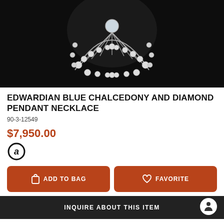[Figure (photo): Close-up photo of an Edwardian blue chalcedony and diamond pendant necklace on dark background showing intricate platinum and diamond fan-shaped design]
EDWARDIAN BLUE CHALCEDONY AND DIAMOND PENDANT NECKLACE
90-3-12549
$7,950.00
[Figure (logo): Affirm payment option icon - circle with letter a]
ADD TO BAG
FAVORITE
INQUIRE ABOUT THIS ITEM